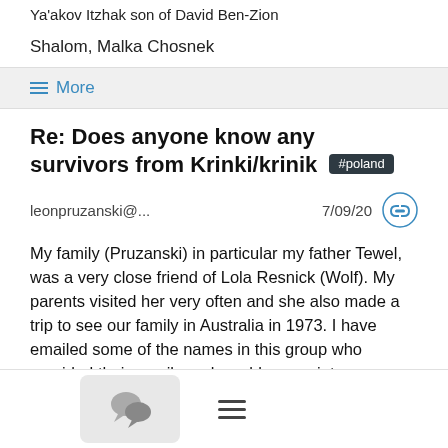Ya'akov Itzhak son of David Ben-Zion
Shalom, Malka Chosnek
≡ More
Re: Does anyone know any survivors from Krinki/krinik #poland
leonpruzanski@...   7/09/20
My family (Pruzanski) in particular my father Tewel, was a very close friend of Lola Resnick (Wolf). My parents visited her very often and she also made a trip to see our family in Australia in 1973. I have emailed some of the names in this group who provided their emails and would appreciate anyone making a group to discuss our Krynki ancestry. Those of our family who emigrated mainly to Australia in the late 1940's, had survived the Holocaust by having been deported to Siberia by the Russians